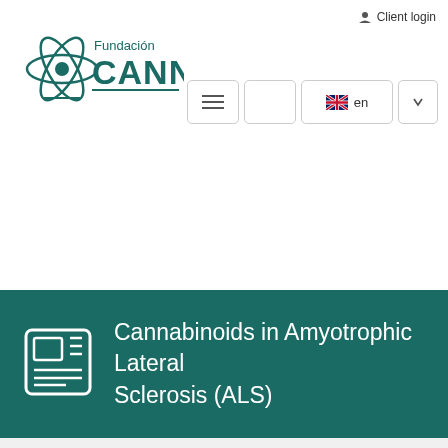Fundación CANNA – Client login – nav buttons – en language selector
Cannabinoids in Amyotrophic Lateral Sclerosis (ALS)
By Francisco Espejo-Porras